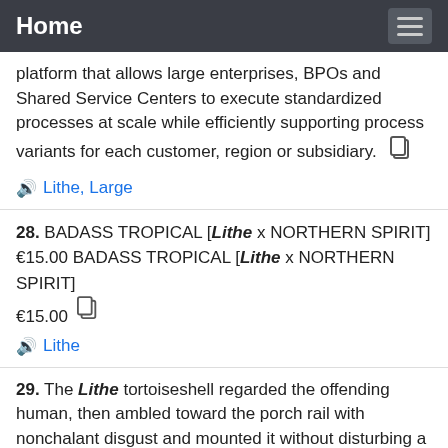Home
platform that allows large enterprises, BPOs and Shared Service Centers to execute standardized processes at scale while efficiently supporting process variants for each customer, region or subsidiary.
Lithe, Large
28. BADASS TROPICAL [Lithe x NORTHERN SPIRIT] €15.00 BADASS TROPICAL [Lithe x NORTHERN SPIRIT] €15.00
Lithe
29. The Lithe tortoiseshell regarded the offending human, then ambled toward the porch rail with nonchalant disgust and mounted it without disturbing a whisker